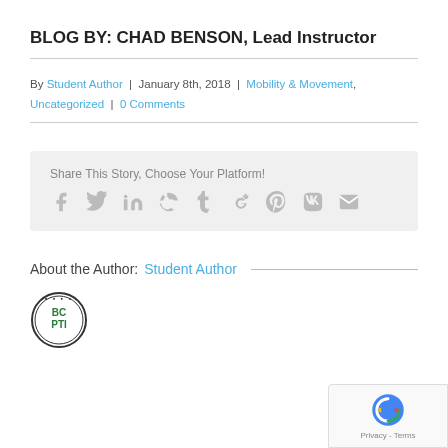BLOG BY: CHAD BENSON, Lead Instructor
By Student Author | January 8th, 2018 | Mobility & Movement, Uncategorized | 0 Comments
Share This Story, Choose Your Platform!
[Figure (infographic): Social media sharing icons: Facebook, Twitter, LinkedIn, Reddit, Tumblr, Google+, Pinterest, VK, Email]
About the Author: Student Author
[Figure (logo): BCPTI circular logo with green text]
[Figure (other): Google reCAPTCHA badge with Privacy and Terms links]